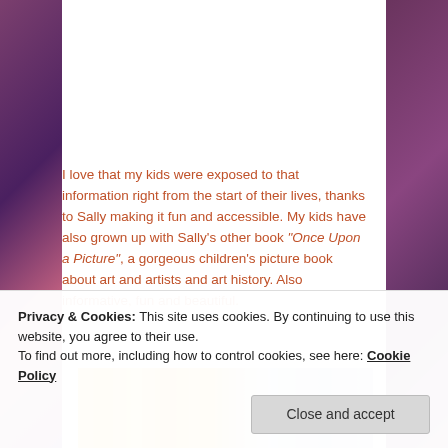I love that my kids were exposed to that information right from the start of their lives, thanks to Sally making it fun and accessible. My kids have also grown up with Sally's other book "Once Upon a Picture", a gorgeous children's picture book about art and artists and art history. Also informative, fun and beautiful.
[Figure (illustration): Cropped view of a painting with swirling yellow and blue brushstrokes, resembling Van Gogh's style]
Privacy & Cookies: This site uses cookies. By continuing to use this website, you agree to their use.
To find out more, including how to control cookies, see here: Cookie Policy